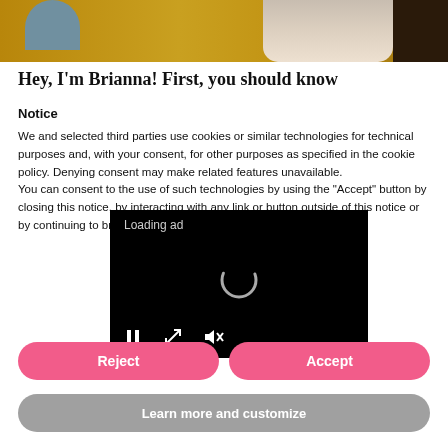[Figure (photo): Partial photo of a person on a mustard yellow sofa, cropped at top, partially obscured by ad overlay]
Hey, I'm Brianna! First, you should know
Notice
We and selected third parties use cookies or similar technologies for technical purposes and, with your consent, for other purposes as specified in the cookie policy. Denying consent may make related features unavailable.
You can consent to the use of such technologies by using the "Accept" button by closing this notice, by interacting with any link or button outside of this notice or by continuing to browse otherwise.
[Figure (screenshot): Loading ad overlay with spinner, pause button, expand button, and mute button]
Reject
Accept
Learn more and customize